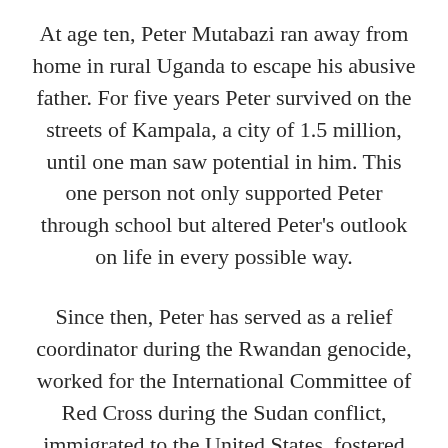At age ten, Peter Mutabazi ran away from home in rural Uganda to escape his abusive father. For five years Peter survived on the streets of Kampala, a city of 1.5 million, until one man saw potential in him. This one person not only supported Peter through school but altered Peter's outlook on life in every possible way.
Since then, Peter has served as a relief coordinator during the Rwandan genocide, worked for the International Committee of Red Cross during the Sudan conflict, immigrated to the United States, fostered countless children, and became a single foster and adoptive parent. He speaks seven languages and has traveled to more than 100 countries as an international advocate for